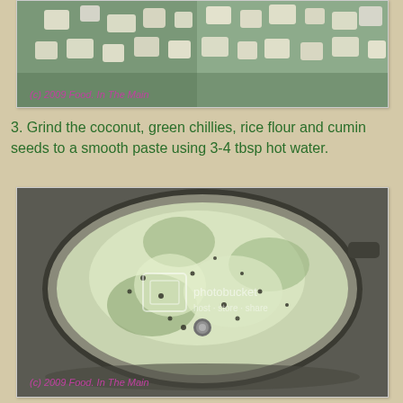[Figure (photo): Top portion of a food photo showing chopped ingredients (possibly onions or coconut pieces) with a pink copyright watermark reading '(c) 2009 Food. In The Main']
3. Grind the coconut, green chillies, rice flour and cumin seeds to a smooth paste using 3-4 tbsp hot water.
[Figure (photo): Photo of a blender/grinder jar containing a ground paste mixture (coconut, green chillies, rice flour, cumin seeds) with a Photobucket watermark and '(c) 2009 Food. In The Main' copyright text at bottom left]